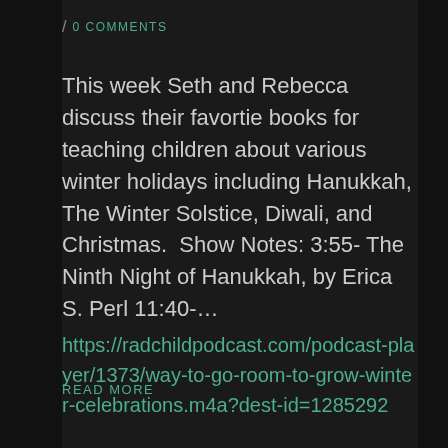/ 0 COMMENTS
This week Seth and Rebecca discuss their favortie books for teaching children about various winter holidays including Hanukkah, The Winter Solstice, Diwali, and Christmas.  Show Notes: 3:55- The Ninth Night of Hanukkah, by Erica S. Perl 11:40-…
READ MORE
https://radchildpodcast.com/podcast-player/1373/way-to-go-room-to-grow-winter-celebrations.m4a?dest-id=1285292